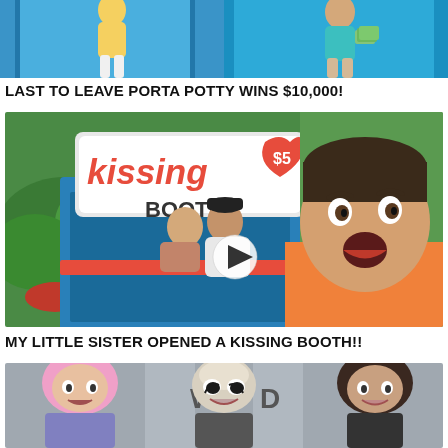[Figure (photo): Partially visible thumbnail showing two people against a blue background - a girl in yellow on the left and a guy in teal on the right]
LAST TO LEAVE PORTA POTTY WINS $10,000!
[Figure (photo): YouTube video thumbnail showing a kissing booth with red and white sign reading 'kissing BOOTH $5', a couple kissing in background, and a shocked young man in orange shirt in foreground. Play button visible in center.]
MY LITTLE SISTER OPENED A KISSING BOOTH!!
[Figure (photo): Partially visible thumbnail showing three people - one with pink hair, one bald with dramatic makeup, and one with dark hair - appearing shocked or scared against a grey building background. Text partially visible reading 'W D'.]